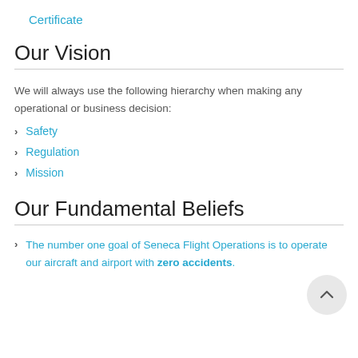Certificate
Our Vision
We will always use the following hierarchy when making any operational or business decision:
Safety
Regulation
Mission
Our Fundamental Beliefs
The number one goal of Seneca Flight Operations is to operate our aircraft and airport with zero accidents.